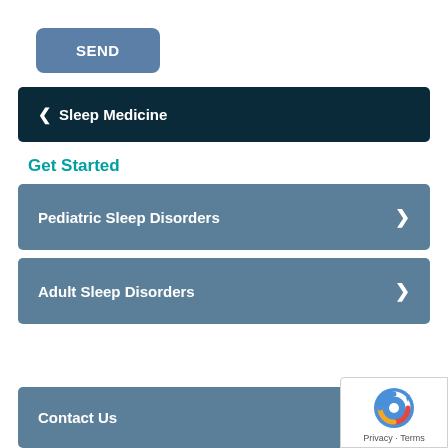SEND
‹ Sleep Medicine
Get Started
Pediatric Sleep Disorders
Adult Sleep Disorders
Contact Us